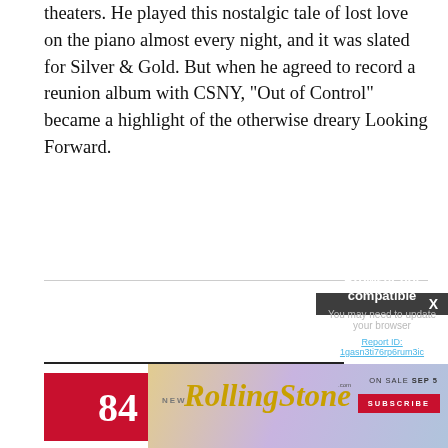theaters. He played this nostalgic tale of lost love on the piano almost every night, and it was slated for Silver & Gold. But when he agreed to record a reunion album with CSNY, “Out of Control” became a highlight of the otherwise dreary Looking Forward.
[Figure (screenshot): Browser not compatible modal overlay with dark background. Title: 'Browser not compatible'. Subtitle: 'You may need to update your browser'. Link: 'Report ID: 1gasn3ti76rp6rum3ic'. Has a close X button in a dark grey header bar.]
84
‘Ro
[Figure (logo): Rolling Stone magazine advertisement banner. Shows 'NEW' text, Rolling Stone logo in yellow italic script, 'ON SALE SEP 5' text, and a red 'SUBSCRIBE' button. Background has pastel gradient colors.]